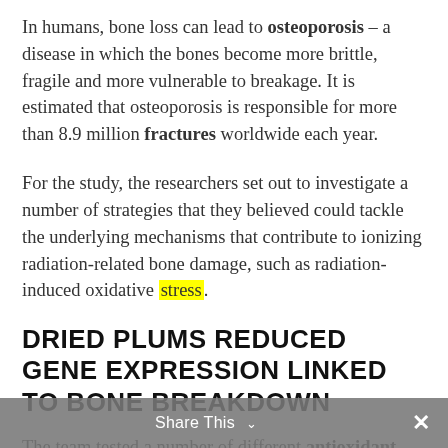In humans, bone loss can lead to osteoporosis – a disease in which the bones become more brittle, fragile and more vulnerable to breakage. It is estimated that osteoporosis is responsible for more than 8.9 million fractures worldwide each year.
For the study, the researchers set out to investigate a number of strategies that they believed could tackle the underlying mechanisms that contribute to ionizing radiation-related bone damage, such as radiation-induced oxidative stress.
DRIED PLUMS REDUCED GENE EXPRESSION LINKED TO BONE BREAKDOWN
The team tested a number of different antioxidant and anti-inflammatory interventions on mice that were exposed to ionizing radiation, assessing the effects the